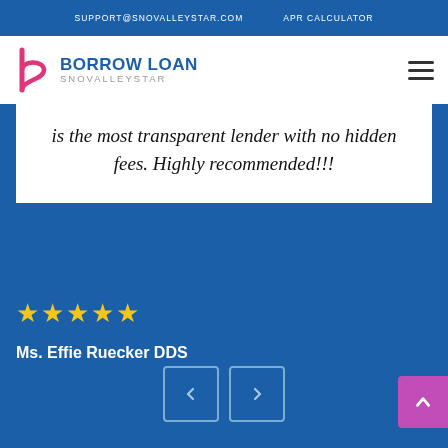SUPPORT@SNOVALLEYSTAR.COM   APR CALCULATOR
[Figure (logo): Borrow Loan Snovalleystar logo with stylized 'b' icon in pink/magenta and text 'BORROW LOAN' in blue bold and 'SNOVALLEYSTAR' in gray]
is the most transparent lender with no hidden fees. Highly recommended!!!
★★★★★
Ms. Effie Ruecker DDS